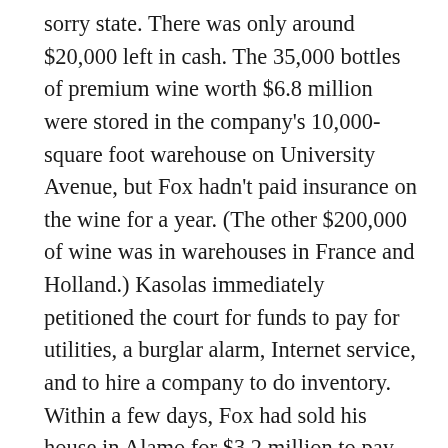sorry state. There was only around $20,000 left in cash. The 35,000 bottles of premium wine worth $6.8 million were stored in the company's 10,000-square foot warehouse on University Avenue, but Fox hadn't paid insurance on the wine for a year. (The other $200,000 of wine was in warehouses in France and Holland.) Kasolas immediately petitioned the court for funds to pay for utilities, a burglar alarm, Internet service, and to hire a company to do inventory. Within a few days, Fox had sold his house in Alamo for $3.2 million to pay down the $936,033 Premier Cru owed its largest creditor, the Community Bank of the Bay. Fox paid about $700,000 to the bank, leaving an outstanding debt of around $150,000 to $200,000, according to court documents.